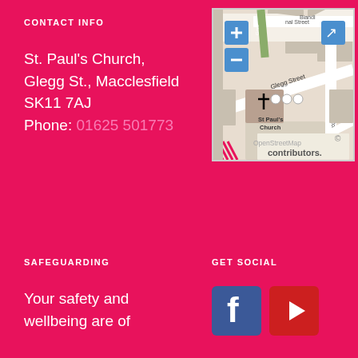CONTACT INFO
St. Paul's Church, Glegg St., Macclesfield SK11 7AJ
Phone: 01625 501773
[Figure (map): OpenStreetMap showing St Paul's Church on Glegg Street, Macclesfield, with St Pauls Road and Daintry Street visible. Map has zoom controls and an expand button.]
SAFEGUARDING
GET SOCIAL
Your safety and wellbeing are of
[Figure (logo): Facebook icon (blue square with white f) and YouTube icon (red square with white play triangle)]